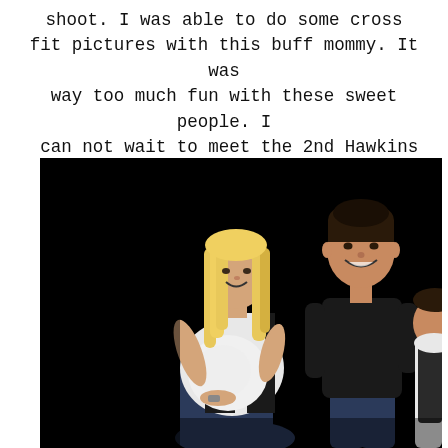shoot. I was able to do some cross fit pictures with this buff mommy. It was way too much fun with these sweet people. I can not wait to meet the 2nd Hawkins girl soon!
[Figure (photo): A studio portrait photograph with a black background showing a pregnant blonde woman in a white top and black vest with jeans sitting and cradling her baby bump, a tall man with dark hair in a black shirt and jeans standing behind her smiling, and a child visible at the right edge wearing a dark top with a white wrap.]